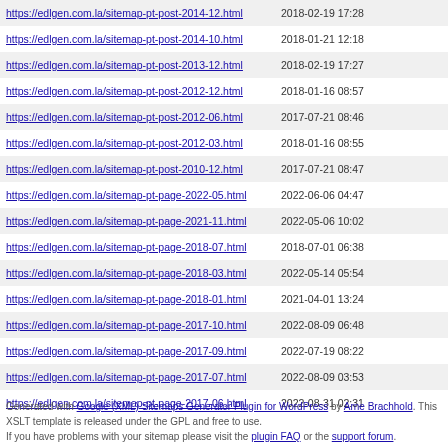| URL | Last Modified |
| --- | --- |
| https://edlgen.com.la/sitemap-pt-post-2014-12.html | 2018-02-19 17:28 |
| https://edlgen.com.la/sitemap-pt-post-2014-10.html | 2018-01-21 12:18 |
| https://edlgen.com.la/sitemap-pt-post-2013-12.html | 2018-02-19 17:27 |
| https://edlgen.com.la/sitemap-pt-post-2012-12.html | 2018-01-16 08:57 |
| https://edlgen.com.la/sitemap-pt-post-2012-06.html | 2017-07-21 08:46 |
| https://edlgen.com.la/sitemap-pt-post-2012-03.html | 2018-01-16 08:55 |
| https://edlgen.com.la/sitemap-pt-post-2010-12.html | 2017-07-21 08:47 |
| https://edlgen.com.la/sitemap-pt-page-2022-05.html | 2022-06-06 04:47 |
| https://edlgen.com.la/sitemap-pt-page-2021-11.html | 2022-05-06 10:02 |
| https://edlgen.com.la/sitemap-pt-page-2018-07.html | 2018-07-01 06:38 |
| https://edlgen.com.la/sitemap-pt-page-2018-03.html | 2022-05-14 05:54 |
| https://edlgen.com.la/sitemap-pt-page-2018-01.html | 2021-04-01 13:24 |
| https://edlgen.com.la/sitemap-pt-page-2017-10.html | 2022-08-09 06:48 |
| https://edlgen.com.la/sitemap-pt-page-2017-09.html | 2022-07-19 08:22 |
| https://edlgen.com.la/sitemap-pt-page-2017-07.html | 2022-08-09 03:53 |
| https://edlgen.com.la/sitemap-pt-page-2017-06.html | 2022-08-31 02:31 |
Generated with Google (XML) Sitemaps Generator Plugin for WordPress by Arne Brachhold. This XSLT template is released under the GPL and free to use. If you have problems with your sitemap please visit the plugin FAQ or the support forum.